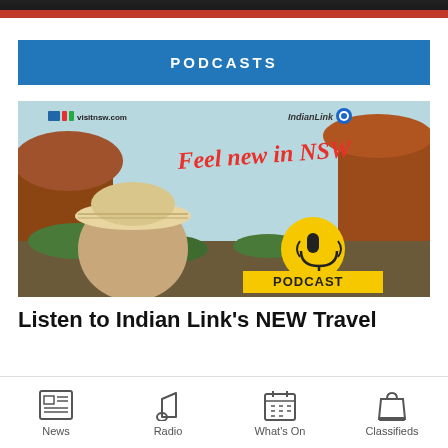PODCASTS
[Figure (photo): Podcast advertisement for 'Feel new in NSW' - Indian Link travel podcast. Shows a person with a sun hat against red rock landscape. Logos for visitnsw.com and IndianLink visible. Yellow podcast badge and label.]
Listen to Indian Link's NEW Travel
News | Radio | What's On | Classifieds